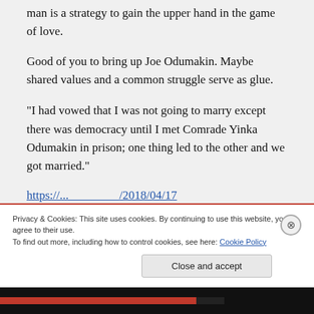man is a strategy to gain the upper hand in the game of love.
Good of you to bring up Joe Odumakin. Maybe shared values and a common struggle serve as glue.
“I had vowed that I was not going to marry except there was democracy until I met Comrade Yinka Odumakin in prison; one thing led to the other and we got married.”
https://.../.../2018/04/17...
Privacy & Cookies: This site uses cookies. By continuing to use this website, you agree to their use.
To find out more, including how to control cookies, see here: Cookie Policy
Close and accept